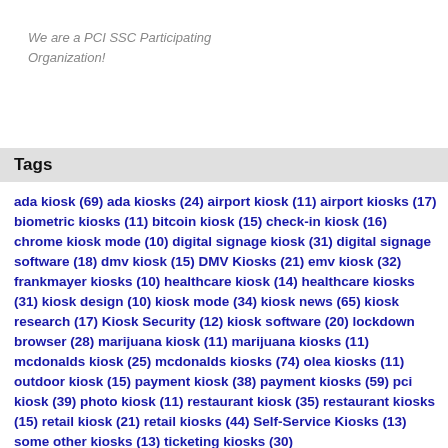We are a PCI SSC Participating Organization!
Tags
ada kiosk (69) ada kiosks (24) airport kiosk (11) airport kiosks (17) biometric kiosks (11) bitcoin kiosk (15) check-in kiosk (16) chrome kiosk mode (10) digital signage kiosk (31) digital signage software (18) dmv kiosk (15) DMV Kiosks (21) emv kiosk (32) frankmayer kiosks (10) healthcare kiosk (14) healthcare kiosks (31) kiosk design (10) kiosk mode (34) kiosk news (65) kiosk research (17) Kiosk Security (12) kiosk software (20) lockdown browser (28) marijuana kiosk (11) marijuana kiosks (11) mcdonalds kiosk (25) mcdonalds kiosks (74) olea kiosks (11) outdoor kiosk (15) payment kiosk (38) payment kiosks (59) pci kiosk (39) photo kiosk (11) restaurant kiosk (35) restaurant kiosks (15) retail kiosk (21) retail kiosks (44) Self-Service Kiosks (13) some other kiosks (13) ticketing kiosks (30)